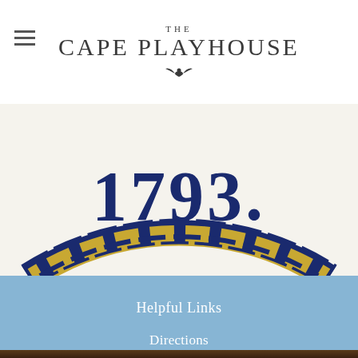THE CAPE PLAYHOUSE
[Figure (illustration): Partial view of a circular seal or emblem featuring the year 1793 in large dark blue numbers, surrounded by a decorative chain border in gold and navy blue, on a cream/beige background.]
Helpful Links
Directions
Contact
Dining | Lodging
Donations